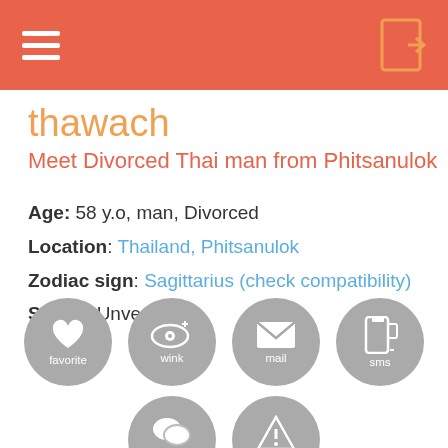thawach — dating profile header
thawach
Meet Divorced Thai man from Phitsanulok
Age: 58 y.o, man, Divorced
Location: Thailand, Phitsanulok
Zodiac sign: Sagittarius (check compatibility)
Status: Unverified
[Figure (infographic): Six circular grey buttons: favorite (heart with plus), wink (eye with plus), mail (envelope), sms (mobile phone), chat (speech bubble), report (warning triangle with exclamation)]